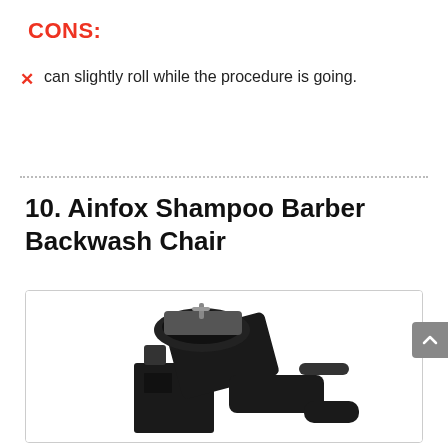CONS:
can slightly roll while the procedure is going.
10. Ainfox Shampoo Barber Backwash Chair
[Figure (photo): Black Ainfox Shampoo Barber Backwash Chair with integrated sink bowl and reclining seat on a white background]